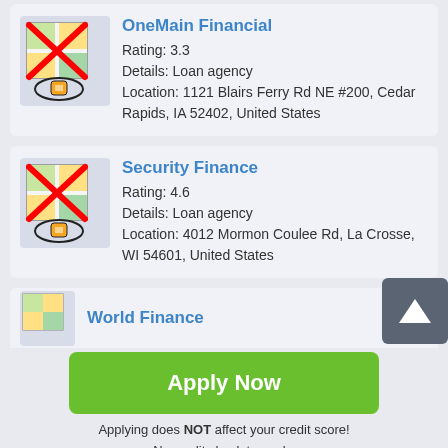[Figure (screenshot): Map icon with red X overlay and location pin, for OneMain Financial]
OneMain Financial
Rating: 3.3
Details: Loan agency
Location: 1121 Blairs Ferry Rd NE #200, Cedar Rapids, IA 52402, United States
[Figure (screenshot): Map icon with red X overlay and location pin, for Security Finance]
Security Finance
Rating: 4.6
Details: Loan agency
Location: 4012 Mormon Coulee Rd, La Crosse, WI 54601, United States
[Figure (screenshot): Partial map icon for World Finance]
World Finance
[Figure (other): Scroll up arrow button]
Apply Now
Applying does NOT affect your credit score!
No credit check to apply.